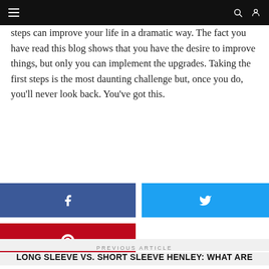Navigation bar with menu, search, and user icons
steps can improve your life in a dramatic way. The fact you have read this blog shows that you have the desire to improve things, but only you can implement the upgrades. Taking the first steps is the most daunting challenge but, once you do, you'll never look back. You've got this.
[Figure (infographic): Facebook share button (dark blue), Twitter share button (light blue), and Pinterest share button (red), arranged in two rows of social media sharing buttons.]
PREVIOUS ARTICLE
LONG SLEEVE VS. SHORT SLEEVE HENLEY: WHAT ARE